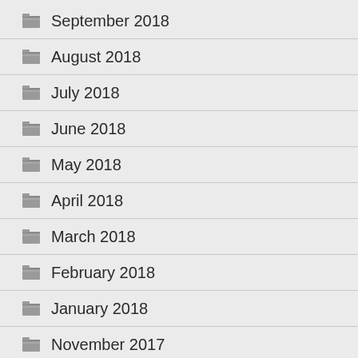September 2018
August 2018
July 2018
June 2018
May 2018
April 2018
March 2018
February 2018
January 2018
November 2017